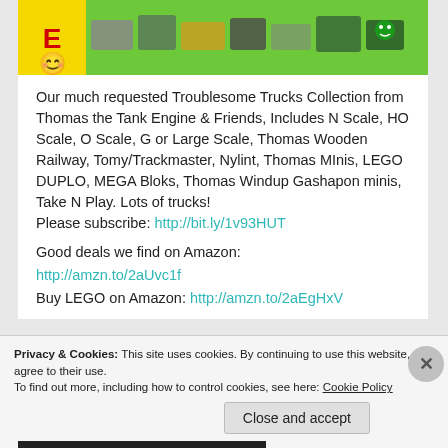[Figure (photo): Photo strip showing Thomas the Tank Engine toy trains and trucks on a green background, with a yellow box on the left containing a red 'E' letter and a yellow smiley face icon.]
Our much requested Troublesome Trucks Collection from Thomas the Tank Engine & Friends, Includes N Scale, HO Scale, O Scale, G or Large Scale, Thomas Wooden Railway, Tomy/Trackmaster, Nylint, Thomas MInis, LEGO DUPLO, MEGA Bloks, Thomas Windup Gashapon minis, Take N Play. Lots of trucks!
Please subscribe: http://bit.ly/1v93HUT
Good deals we find on Amazon:
http://amzn.to/2aUvc1f
Buy LEGO on Amazon: http://amzn.to/2aEgHxV
Privacy & Cookies: This site uses cookies. By continuing to use this website, you agree to their use.
To find out more, including how to control cookies, see here: Cookie Policy
Close and accept